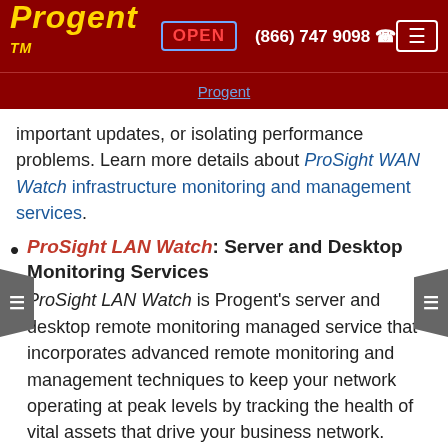Progent™   OPEN   (866) 747 9098   ☎   ≡
Progent
important updates, or isolating performance problems. Learn more details about ProSight WAN Watch infrastructure monitoring and management services.
ProSight LAN Watch: Server and Desktop Monitoring Services
ProSight LAN Watch is Progent's server and desktop remote monitoring managed service that incorporates advanced remote monitoring and management techniques to keep your network operating at peak levels by tracking the health of vital assets that drive your business network. When ProSight LAN Watch detects a problem, an alarm is sent automatically to your specified IT personnel